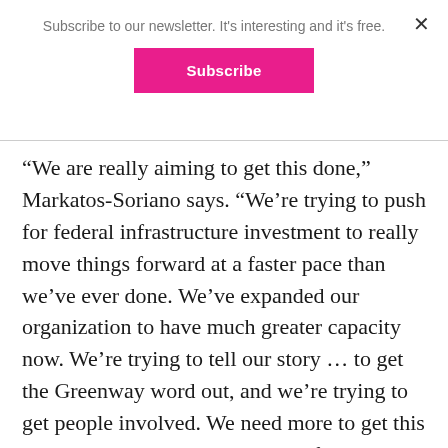Subscribe to our newsletter. It's interesting and it's free.
Subscribe
“We are really aiming to get this done,” Markatos-Soriano says. “We’re trying to push for federal infrastructure investment to really move things forward at a faster pace than we’ve ever done. We’ve expanded our organization to have much greater capacity now. We’re trying to tell our story … to get the Greenway word out, and we’re trying to get people involved. We need more to get this project done and raise the level of priority.”